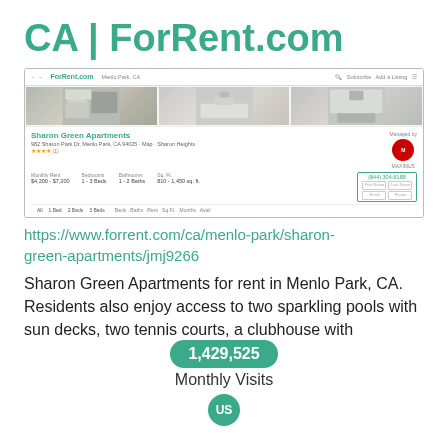CA | ForRent.com
[Figure (screenshot): Screenshot of ForRent.com listing for Sharon Green Apartments in Menlo Park, CA showing kitchen photos, property details, monthly rent $4,200-$7,200, 1-3 beds, 1-2 baths, and contact form]
https://www.forrent.com/ca/menlo-park/sharon-green-apartments/jmj9266
Sharon Green Apartments for rent in Menlo Park, CA. Residents also enjoy access to two sparkling pools with sun decks, two tennis courts, a clubhouse with
1,429,525
Monthly Visits
US